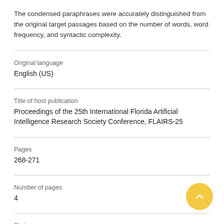The condensed paraphrases were accurately distinguished from the original target passages based on the number of words, word frequency, and syntactic complexity.
| Original language | English (US) |
| Title of host publication | Proceedings of the 25th International Florida Artificial Intelligence Research Society Conference, FLAIRS-25 |
| Pages | 268-271 |
| Number of pages | 4 |
| State | Published - 2012 |
| Event |  |